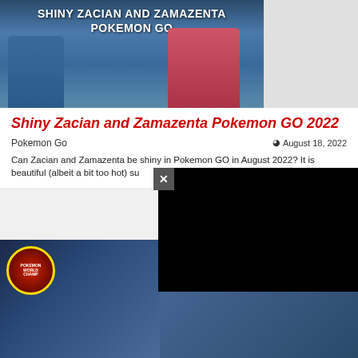[Figure (screenshot): Screenshot of Pokemon GO article page showing Shiny Zacian and Zamazenta with title image overlay text 'SHINY ZACIAN AND ZAMAZENTA POKEMON GO']
Shiny Zacian and Zamazenta Pokemon GO 2022
Pokemon Go   August 18, 2022
Can Zacian and Zamazenta be shiny in Pokemon GO in August 2022? It is beautiful (albeit a bit too hot) su...
[Figure (screenshot): Pokemon World Championships promotional image showing Zacian, Zamazenta and Pikachu at stadium]
[Figure (screenshot): Black video overlay panel with X close button]